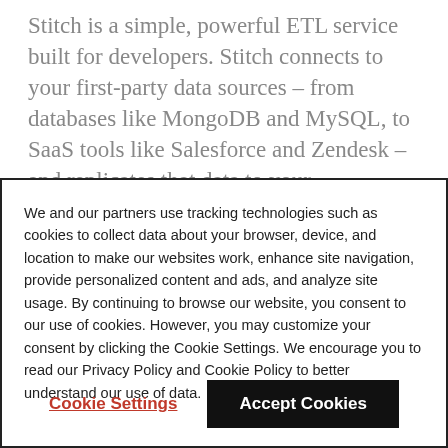Stitch is a simple, powerful ETL service built for developers. Stitch connects to your first-party data sources – from databases like MongoDB and MySQL, to SaaS tools like Salesforce and Zendesk – and replicates that data to your warehouse. With Stitch, developers can provision data for their internal users in minutes, not weeks.
We and our partners use tracking technologies such as cookies to collect data about your browser, device, and location to make our websites work, enhance site navigation, provide personalized content and ads, and analyze site usage. By continuing to browse our website, you consent to our use of cookies. However, you may customize your consent by clicking the Cookie Settings. We encourage you to read our Privacy Policy and Cookie Policy to better understand our use of data.
Cookie Settings
Accept Cookies